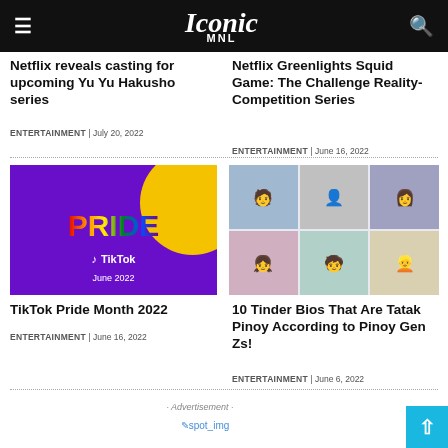Iconic MNL
Netflix reveals casting for upcoming Yu Yu Hakusho series
ENTERTAINMENT | July 20, 2022
Netflix Greenlights Squid Game: The Challenge Reality-Competition Series
ENTERTAINMENT | June 16, 2022
[Figure (illustration): TikTok Pride Month 2022 promotional image with purple background, rainbow PRIDE text, TikTok logo, and yellow circle accent. Text reads June 2022.]
[Figure (illustration): Grid of illustrated Tinder profile cards showing cartoon avatars on colorful backgrounds.]
TikTok Pride Month 2022
ENTERTAINMENT | June 16, 2022
10 Tinder Bios That Are Tatak Pinoy According to Pinoy Gen Zs!
ENTERTAINMENT | June 6, 2022
· Advertisement ·
[Figure (other): Advertisement placeholder image (spot_img)]